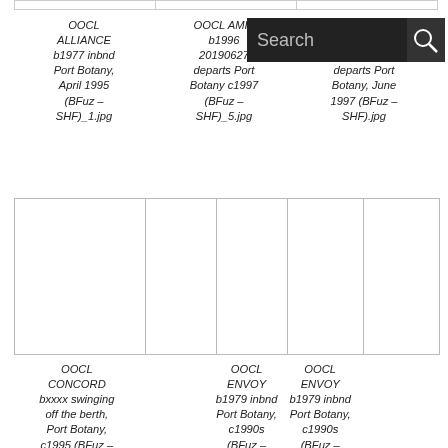|  |  |  |  |  |
OOCL ALLIANCE b1977 inbnd Port Botany, April 1995 (BFuz – SHF)_1.jpg
OOCL AMIT b1996 20190627 departs Port Botany c1997 (BFuz – SHF)_5.jpg
b1970 as Manchester Challenge, departs Port Botany, June 1997 (BFuz – SHF).jpg
|  |  |  |  |  |
OOCL CONCORD bxxxx swinging off the berth, Port Botany, c1995 (BFuz –
OOCL ENVOY b1979 inbnd Port Botany, c1990s (BFuz – SHF)_1.jpg
OOCL ENVOY b1979 inbnd Port Botany, c1990s (BFuz – SHF)_2.jpg